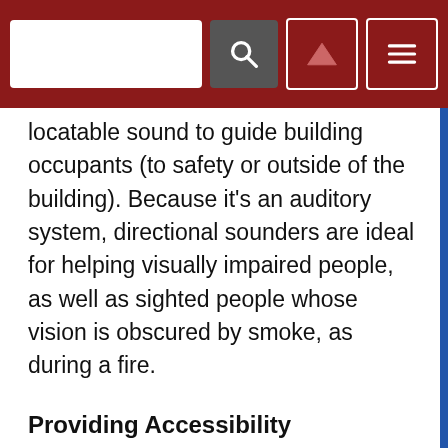[Search bar, search button, up arrow button, menu button]
locatable sound to guide building occupants (to safety or outside of the building). Because it’s an auditory system, directional sounders are ideal for helping visually impaired people, as well as sighted people whose vision is obscured by smoke, as during a fire.
Providing Accessibility
The Seeing Eye’s school and training grounds sit on 60 acres just outside of New York City. A residence hall with private rooms, a lounge and fitness center houses students who train with their new dogs onsite for almost a month. With facilities to train 120 dogs and a state-of-theart veterinary medical center containing additional kennels, the campus has a considerable population at all times. Many onsite visitors are unfamiliar with the